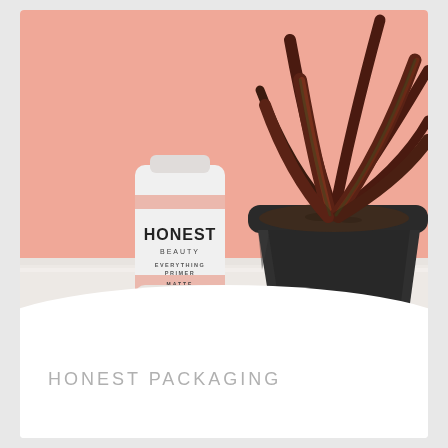[Figure (photo): A white tube of Honest Beauty Everything Primer Matte (prep + prime) product standing next to a dark charcoal/black terracotta pot containing a succulent or aloe-like plant with red-tipped green leaves, set against a soft peach/salmon colored background on a white surface.]
HONEST PACKAGING